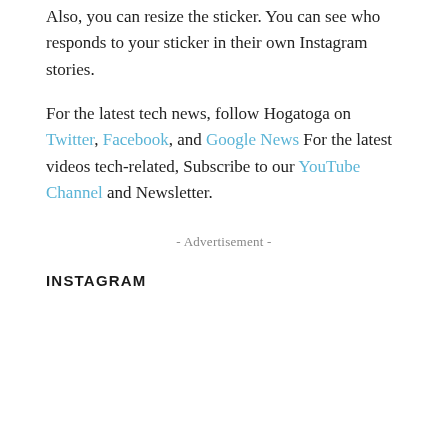Also, you can resize the sticker. You can see who responds to your sticker in their own Instagram stories.
For the latest tech news, follow Hogatoga on Twitter, Facebook, and Google News For the latest videos tech-related, Subscribe to our YouTube Channel and Newsletter.
- Advertisement -
INSTAGRAM